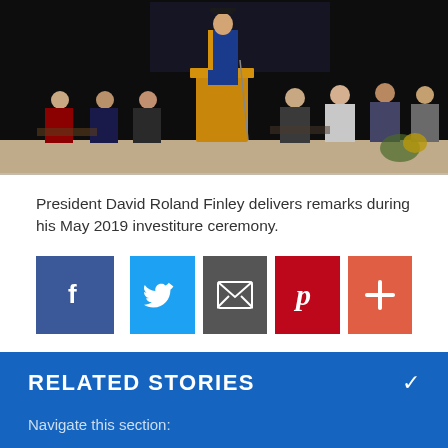[Figure (photo): President David Roland Finley delivering remarks at a podium during his May 2019 investiture ceremony, with dignitaries seated on stage in academic regalia against a dark background.]
President David Roland Finley delivers remarks during his May 2019 investiture ceremony.
[Figure (infographic): Social sharing buttons: Facebook (blue), Twitter (light blue), Email (gray), Pinterest (red), More (orange-red)]
RELATED STORIES
Navigate this section: